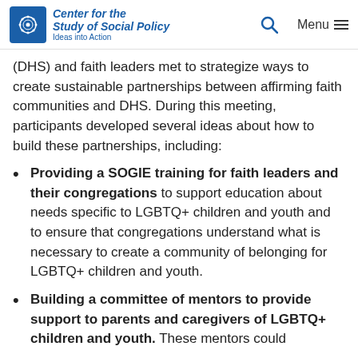Center for the Study of Social Policy — Ideas into Action
(DHS) and faith leaders met to strategize ways to create sustainable partnerships between affirming faith communities and DHS. During this meeting, participants developed several ideas about how to build these partnerships, including:
Providing a SOGIE training for faith leaders and their congregations to support education about needs specific to LGBTQ+ children and youth and to ensure that congregations understand what is necessary to create a community of belonging for LGBTQ+ children and youth.
Building a committee of mentors to provide support to parents and caregivers of LGBTQ+ children and youth. These mentors could